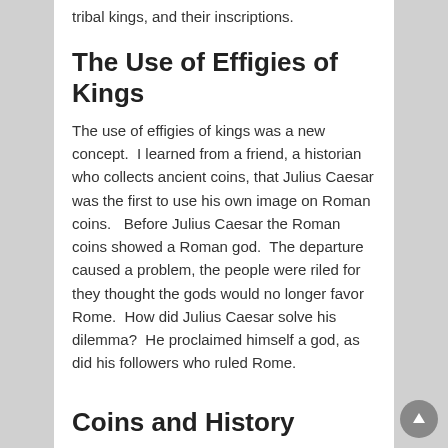tribal kings, and their inscriptions.
The Use of Effigies of Kings
The use of effigies of kings was a new concept.  I learned from a friend, a historian who collects ancient coins, that Julius Caesar was the first to use his own image on Roman coins.   Before Julius Caesar the Roman coins showed a Roman god.  The departure caused a problem, the people were riled for they thought the gods would no longer favor Rome.  How did Julius Caesar solve his dilemma?  He proclaimed himself a god, as did his followers who ruled Rome.
Coins and History
Coins can give us a look at the rulers, and